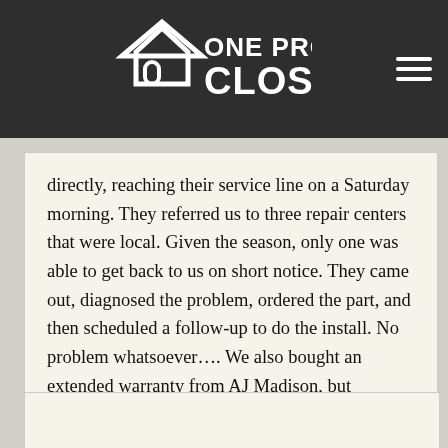ONE PROJECT CLOSER
directly, reaching their service line on a Saturday morning. They referred us to three repair centers that were local. Given the season, only one was able to get back to us on short notice. They came out, diagnosed the problem, ordered the part, and then scheduled a follow-up to do the install. No problem whatsoever…. We also bought an extended warranty from AJ Madison, but hopefully we won't have to make use of it. The person on the other end of the phone spoke fluent English and was definitely knowledgeable enough to help us find a local service shop. All in all, I was happy with the service.